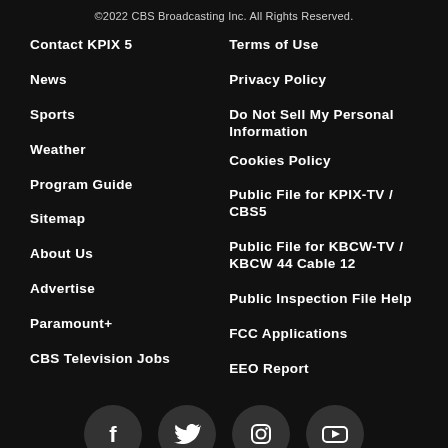©2022 CBS Broadcasting Inc. All Rights Reserved.
Contact KPIX 5
News
Sports
Weather
Program Guide
Sitemap
About Us
Advertise
Paramount+
CBS Television Jobs
Terms of Use
Privacy Policy
Do Not Sell My Personal Information
Cookies Policy
Public File for KPIX-TV / CBS5
Public File for KBCW-TV / KBCW 44 Cable 12
Public Inspection File Help
FCC Applications
EEO Report
[Figure (infographic): Social media icons row: Facebook, Twitter, Instagram, YouTube — white icons on dark circular backgrounds]